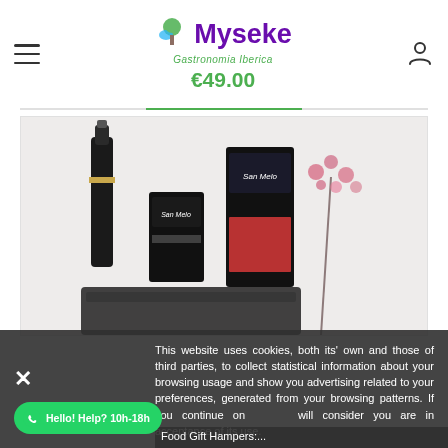Myseke Gastronomia Iberica — €49.00
[Figure (photo): Product photo showing a wine bottle, two dark-packaged food products labeled 'Sao Melo', pink dried flowers, and other food items on a white background — Iberian food gift hamper.]
This website uses cookies, both its' own and those of third parties, to collect statistical information about your browsing usage and show you advertising related to your preferences, generated from your browsing patterns. If you continue on [this site] will consider you are in acceptance of its use.
Food Gift Hampers:...